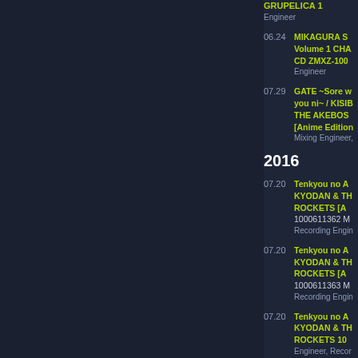GRUPELICA 1 Engineer
06.24 MIKAGURA S Volume 1 CHA CD ZMXZ-100 Engineer
07.29 GATE ~Sore w you ni~ / KISIB THE AKEBOS [Anime Edition Mixing Engineer,
2016
07.20 Tenkyou no A KYODAN & TH ROCKETS [A 1000611362 M Recording Engin
07.20 Tenkyou no A KYODAN & TH ROCKETS [A 1000611363 M Recording Engin
07.20 Tenkyou no A KYODAN & TH ROCKETS 10 Engineer, Recor
12.21 Blood on the E